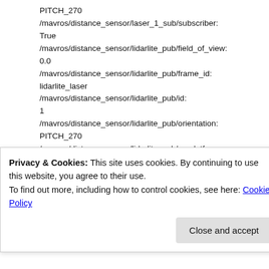PITCH_270
/mavros/distance_sensor/laser_1_sub/subscriber: True
/mavros/distance_sensor/lidarlite_pub/field_of_view: 0.0
/mavros/distance_sensor/lidarlite_pub/frame_id: lidarlite_laser
/mavros/distance_sensor/lidarlite_pub/id: 1
/mavros/distance_sensor/lidarlite_pub/orientation: PITCH_270
/mavros/distance_sensor/lidarlite_pub/send_tf: True
/mavros/distance_sensor/lidarlite_pub/sensor_pos: 0.0
Privacy & Cookies: This site uses cookies. By continuing to use this website, you agree to their use.
To find out more, including how to control cookies, see here: Cookie Policy